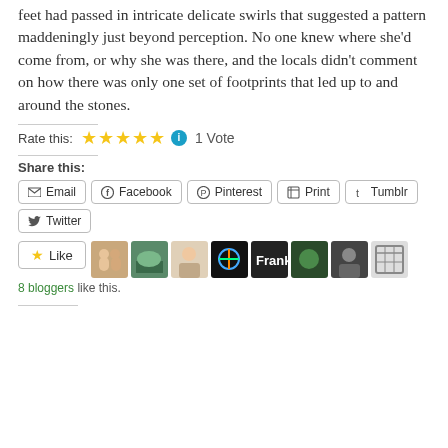feet had passed in intricate delicate swirls that suggested a pattern maddeningly just beyond perception. No one knew where she'd come from, or why she was there, and the locals didn't comment on how there was only one set of footprints that led up to and around the stones.
Rate this: ★★★★★ ℹ 1 Vote
Share this:
Email | Facebook | Pinterest | Print | Tumblr | Twitter
[Figure (screenshot): Like button and 8 blogger avatar thumbnails with '8 bloggers like this.' text below]
8 bloggers like this.